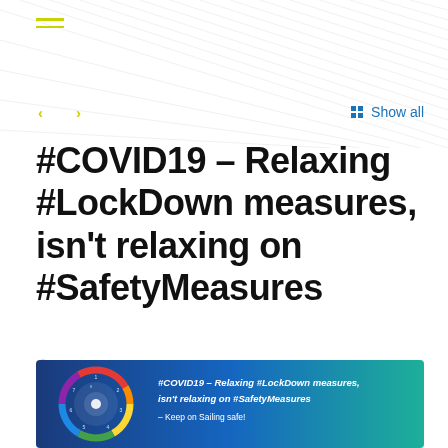≡
< >  Show all
#COVID19 – Relaxing #LockDown measures, isn't relaxing on #SafetyMeasures
May 12, 2020
[Figure (infographic): Banner image with blue-to-green gradient background showing a circular sustainability/SDG-style wheel diagram on the left and white bold italic text reading: #COVID19 – Relaxing #LockDown measures, isn't relaxing on #SafetyMeasures – Keep on Sailing safe!]